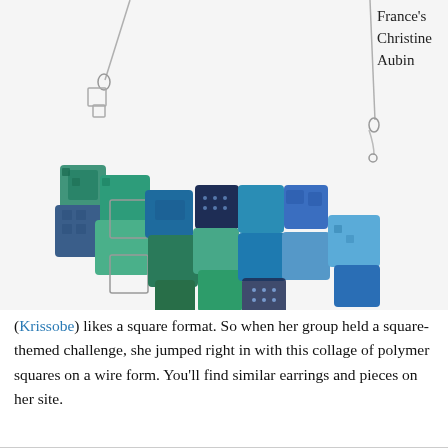[Figure (photo): A necklace made of colorful teal, green, and blue polymer clay squares arranged in a collage on a silver wire form, photographed against a white background. Silver chain clasp visible at upper right.]
France's Christine Aubin
(Krissobe) likes a square format. So when her group held a square-themed challenge, she jumped right in with this collage of polymer squares on a wire form. You'll find similar earrings and pieces on her site.